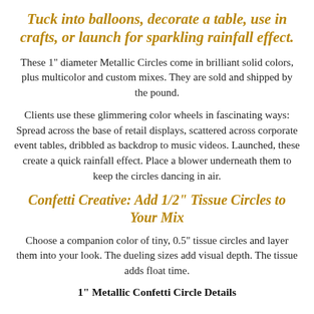Tuck into balloons, decorate a table, use in crafts, or launch for sparkling rainfall effect.
These 1" diameter Metallic Circles come in brilliant solid colors, plus multicolor and custom mixes. They are sold and shipped by the pound.
Clients use these glimmering color wheels in fascinating ways: Spread across the base of retail displays, scattered across corporate event tables, dribbled as backdrop to music videos. Launched, these create a quick rainfall effect. Place a blower underneath them to keep the circles dancing in air.
Confetti Creative: Add 1/2" Tissue Circles to Your Mix
Choose a companion color of tiny, 0.5" tissue circles and layer them into your look. The dueling sizes add visual depth. The tissue adds float time.
1" Metallic Confetti Circle Details